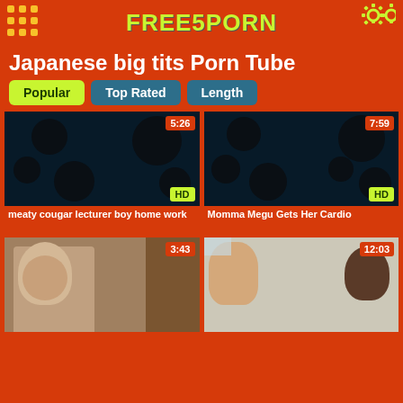FREE5PORN
Japanese big tits Porn Tube
Popular
Top Rated
Length
[Figure (screenshot): Video thumbnail with polka dot pattern, duration 5:26, HD badge]
meaty cougar lecturer boy home work
[Figure (screenshot): Video thumbnail with polka dot pattern, duration 7:59, HD badge]
Momma Megu Gets Her Cardio
[Figure (photo): Video thumbnail showing woman, duration 3:43]
[Figure (photo): Video thumbnail showing people, duration 12:03]